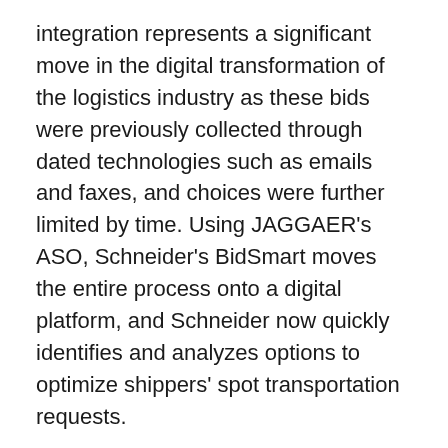integration represents a significant move in the digital transformation of the logistics industry as these bids were previously collected through dated technologies such as emails and faxes, and choices were further limited by time. Using JAGGAER's ASO, Schneider's BidSmart moves the entire process onto a digital platform, and Schneider now quickly identifies and analyzes options to optimize shippers' spot transportation requests.
“Incorporating JAGGAER within our technology platform supports Schneider Logistics’ ability to deliver a market-leading ROI,” said Mike Kukiela, Schneider vice president and general manager of supply chain management. “The collaboration on technology-enabled services demonstrates the strong commitment of both organizations to lead the industry in delivered customer value and innovation.”